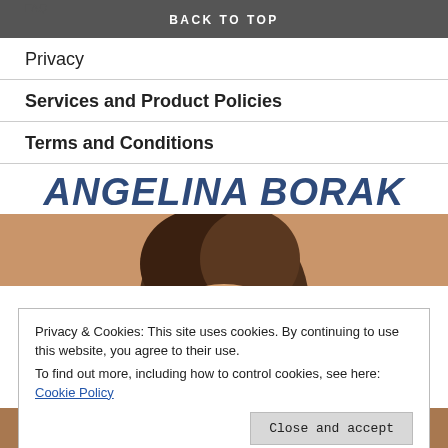FAQ
BACK TO TOP
Privacy
Services and Product Policies
Terms and Conditions
ANGELINA BORAK
[Figure (photo): Partial photo of a person with dark hair, head visible from above; the rest of the body is cut off at the bottom of the page.]
Privacy & Cookies: This site uses cookies. By continuing to use this website, you agree to their use.
To find out more, including how to control cookies, see here: Cookie Policy
Close and accept